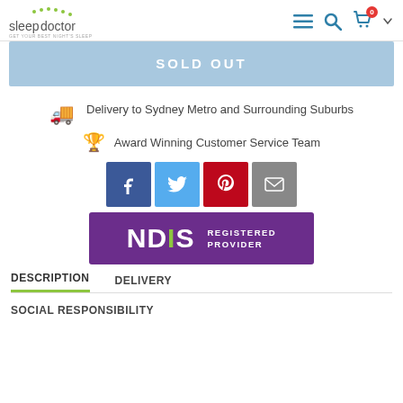sleepdoctor
SOLD OUT
Delivery to Sydney Metro and Surrounding Suburbs
Award Winning Customer Service Team
[Figure (other): Social share buttons: Facebook (blue), Twitter (light blue), Pinterest (red), Email (grey)]
[Figure (logo): NDIS Registered Provider badge with purple background, white NDIS text with green I, and REGISTERED PROVIDER text]
DESCRIPTION    DELIVERY
SOCIAL RESPONSIBILITY